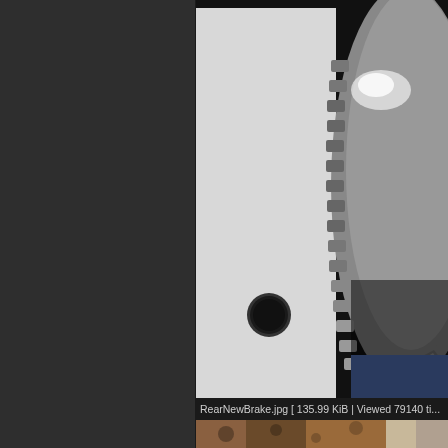[Figure (photo): Close-up photo of a rear brake assembly showing a metallic gear/sprocket and a bolt, with a white brake plate and a circular hole visible. The component appears to be a bicycle or motorcycle rear brake mechanism.]
RearNewBrake.jpg [ 135.99 KiB | Viewed 79140 ti...
[Figure (photo): Partial view of a second photo showing a rusted or corroded metallic surface, partially visible at the bottom of the page.]